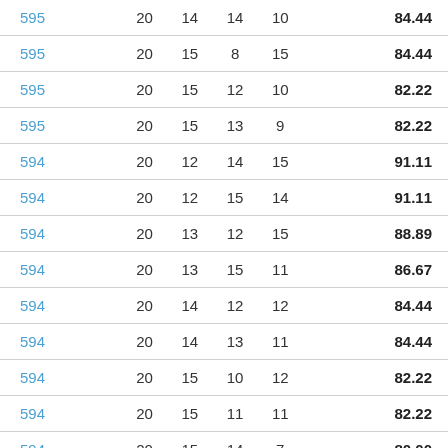| 595 | 20 | 14 | 14 | 10 | 84.44 |
| 595 | 20 | 15 | 8 | 15 | 84.44 |
| 595 | 20 | 15 | 12 | 10 | 82.22 |
| 595 | 20 | 15 | 13 | 9 | 82.22 |
| 594 | 20 | 12 | 14 | 15 | 91.11 |
| 594 | 20 | 12 | 15 | 14 | 91.11 |
| 594 | 20 | 13 | 12 | 15 | 88.89 |
| 594 | 20 | 13 | 15 | 11 | 86.67 |
| 594 | 20 | 14 | 12 | 12 | 84.44 |
| 594 | 20 | 14 | 13 | 11 | 84.44 |
| 594 | 20 | 15 | 10 | 12 | 82.22 |
| 594 | 20 | 15 | 11 | 11 | 82.22 |
| 594 | 20 | 15 | 14 | 7 | 80.00 |